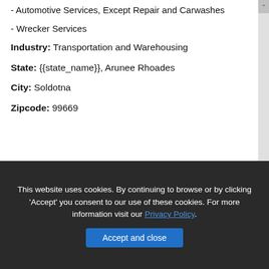- Automotive Services, Except Repair and Carwashes
- Wrecker Services
Industry: Transportation and Warehousing
State: {{state_name}}, Arunee Rhoades
City: Soldotna
Zipcode: 99669
This website uses cookies. By continuing to browse or by clicking 'Accept' you consent to our use of these cookies. For more information visit our Privacy Policy.
Accept and close